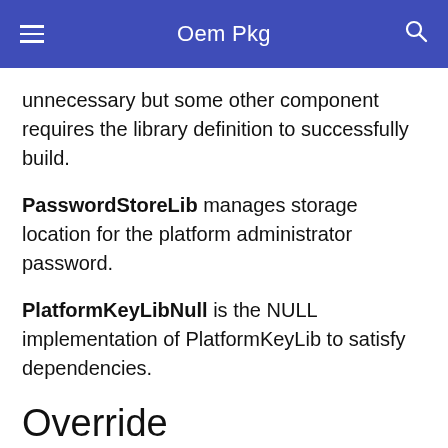Oem Pkg
unnecessary but some other component requires the library definition to successfully build.
PasswordStoreLib manages storage location for the platform administrator password.
PlatformKeyLibNull is the NULL implementation of PlatformKeyLib to satisfy dependencies.
Override
The Override/ directory contains overrides for EDK2 components. These overrides are sometimes required for things like bug fixes, functionality addition and removal. In this case, the only override is for BootManagerPolicyDxe to preserve some functionality of the original in case it is